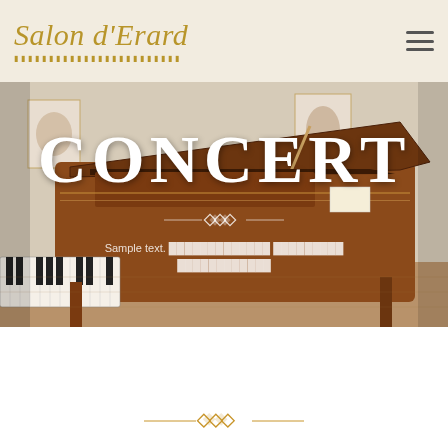Salon d'Erard
CONCERT
Sample text. █████████████ █████████ ████████████
[Figure (photo): Grand piano in a salon setting, wooden finish, open lid, with artworks visible in the background]